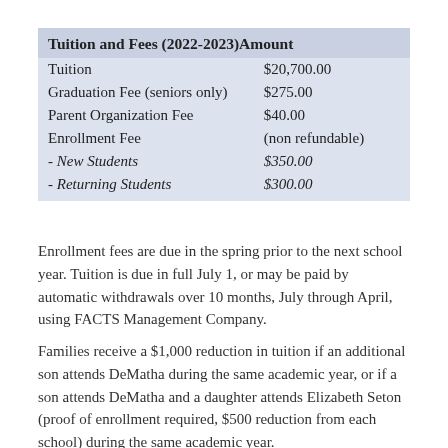| Tuition and Fees (2022-2023) | Amount |
| --- | --- |
| Tuition | $20,700.00 |
| Graduation Fee (seniors only) | $275.00 |
| Parent Organization Fee | $40.00 |
| Enrollment Fee | (non refundable) |
| - New Students | $350.00 |
| - Returning Students | $300.00 |
Enrollment fees are due in the spring prior to the next school year. Tuition is due in full July 1, or may be paid by automatic withdrawals over 10 months, July through April, using FACTS Management Company.
Families receive a $1,000 reduction in tuition if an additional son attends DeMatha during the same academic year, or if a son attends DeMatha and a daughter attends Elizabeth Seton (proof of enrollment required, $500 reduction from each school) during the same academic year.